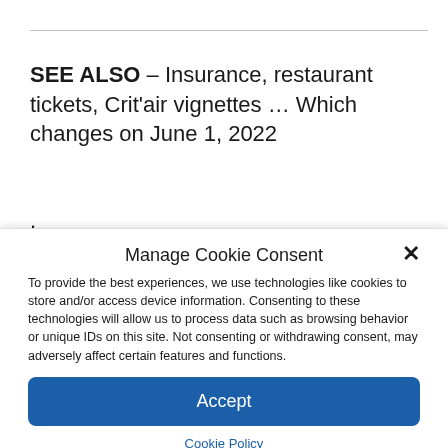SEE ALSO – Insurance, restaurant tickets, Crit'air vignettes … Which changes on June 1, 2022
.
Manage Cookie Consent
To provide the best experiences, we use technologies like cookies to store and/or access device information. Consenting to these technologies will allow us to process data such as browsing behavior or unique IDs on this site. Not consenting or withdrawing consent, may adversely affect certain features and functions.
Accept
Cookie Policy